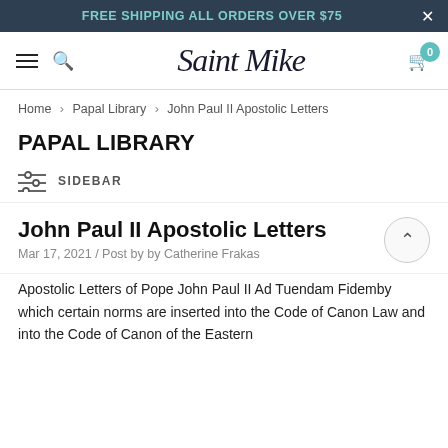FREE SHIPPING ALL ORDERS OVER $75
[Figure (logo): Saint Mike script logo with hamburger menu, search icon, and cart with 0 badge]
Home > Papal Library > John Paul II Apostolic Letters
PAPAL LIBRARY
SIDEBAR
John Paul II Apostolic Letters
Mar 17, 2021 / Post by by Catherine Frakas
Apostolic Letters of Pope John Paul II Ad Tuendam Fidemby which certain norms are inserted into the Code of Canon Law and into the Code of Canon of the Eastern